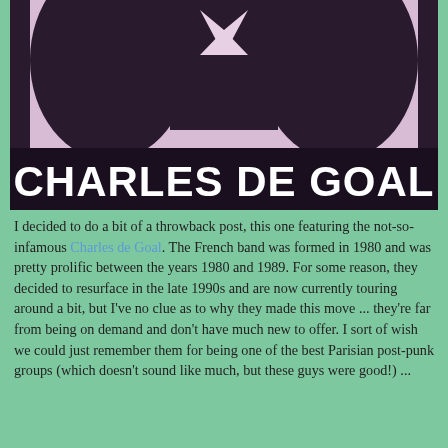[Figure (photo): Dark high-contrast image of a person (silhouette) with a lavender/pink background and a bowtie or collar detail visible. White bold text overlay reads 'CHARLES DE GOAL'.]
I decided to do a bit of a throwback post, this one featuring the not-so-infamous Charles de Goal. The French band was formed in 1980 and was pretty prolific between the years 1980 and 1989. For some reason, they decided to resurface in the late 1990s and are now currently touring around a bit, but I've no clue as to why they made this move ... they're far from being on demand and don't have much new to offer. I sort of wish we could just remember them for being one of the best Parisian post-punk groups (which doesn't sound like much, but these guys were good!) ...